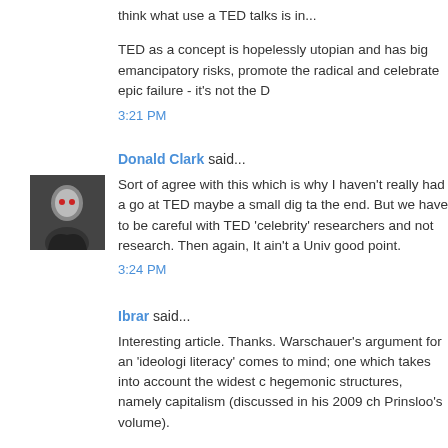TED as a concept is hopelessly utopian and has big emancipatory risks, promote the radical and celebrate epic failure - it's not the D
3:21 PM
Donald Clark said...
Sort of agree with this which is why I haven't really had a go at TED maybe a small dig ta the end. But we have to be careful with TED 'celebrity' researchers and not research. Then again, It ain't a Univ good point.
3:24 PM
Ibrar said...
Interesting article. Thanks. Warschauer's argument for an 'ideologi literacy' comes to mind; one which takes into account the widest c hegemonic structures, namely capitalism (discussed in his 2009 ch Prinsloo's volume).
Also, btw, I don't think Mitra's work inspired the making of that mov Imagine if it had? That'd be worth an award in itself, talk about res :-)
Cheers